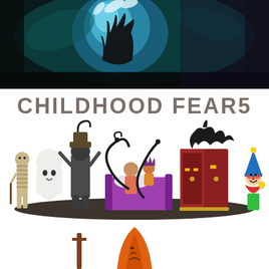[Figure (illustration): Dark atmospheric illustration showing a blue glowing ghost or creature with clawed hands against a dark teal and black background, viewed from above a bed]
CHILDHOOD FEARS
[Figure (illustration): Cartoon flat-style illustration of childhood fears characters including a mummy, ghost, shadowy figure in hat, child in bed with parent, monster tentacles, dark wardrobe, and a clown, all standing on a dark ground shadow]
[Figure (illustration): Partial bottom illustration showing orange and brown cartoon characters, partially cropped]